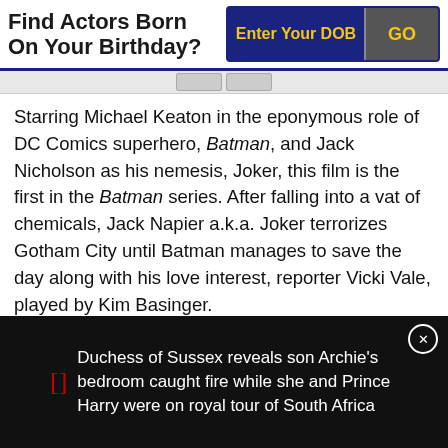Find Actors Born On Your Birthday?
Starring Michael Keaton in the eponymous role of DC Comics superhero, Batman, and Jack Nicholson as his nemesis, Joker, this film is the first in the Batman series. After falling into a vat of chemicals, Jack Napier a.k.a. Joker terrorizes Gotham City until Batman manages to save the day along with his love interest, reporter Vicki Vale, played by Kim Basinger.
As: Cast
Director: Tim Burton
Duchess of Sussex reveals son Archie's bedroom caught fire while she and Prince Harry were on royal tour of South Africa